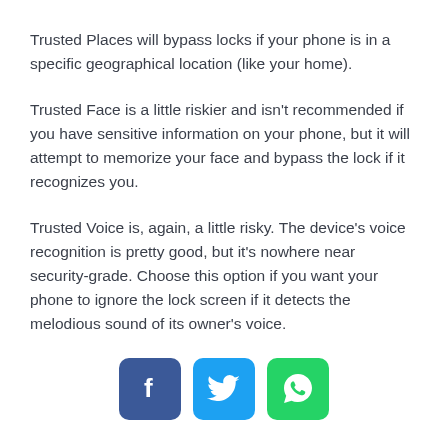Trusted Places will bypass locks if your phone is in a specific geographical location (like your home).
Trusted Face is a little riskier and isn't recommended if you have sensitive information on your phone, but it will attempt to memorize your face and bypass the lock if it recognizes you.
Trusted Voice is, again, a little risky. The device's voice recognition is pretty good, but it's nowhere near security-grade. Choose this option if you want your phone to ignore the lock screen if it detects the melodious sound of its owner's voice.
[Figure (other): Row of three social share buttons: Facebook (blue), Twitter (light blue), WhatsApp (green)]